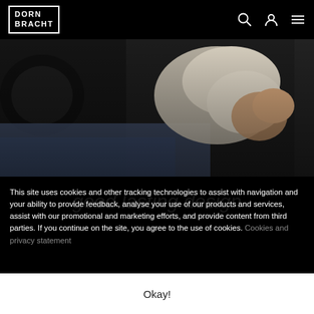[Figure (logo): Dornbracht logo with border box, white text on black]
[Figure (photo): Close-up photo of hands/person wearing jeans and white fabric, dark background]
This site uses cookies and other tracking technologies to assist with navigation and your ability to provide feedback, analyse your use of our products and services, assist with our promotional and marketing efforts, and provide content from third parties. If you continue on the site, you agree to the use of cookies. Cookies and privacy statement
Okay!